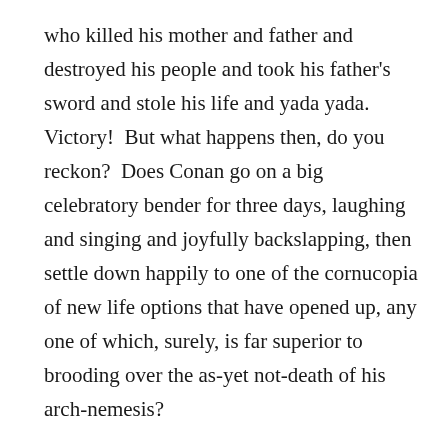who killed his mother and father and destroyed his people and took his father's sword and stole his life and yada yada.  Victory!  But what happens then, do you reckon?  Does Conan go on a big celebratory bender for three days, laughing and singing and joyfully backslapping, then settle down happily to one of the cornucopia of new life options that have opened up, any one of which, surely, is far superior to brooding over the as-yet not-death of his arch-nemesis?

Perhaps you think so.  My guess is not.  My guess is Conan slumps into a navel-gazing melancholy tailspin, all the worse because he